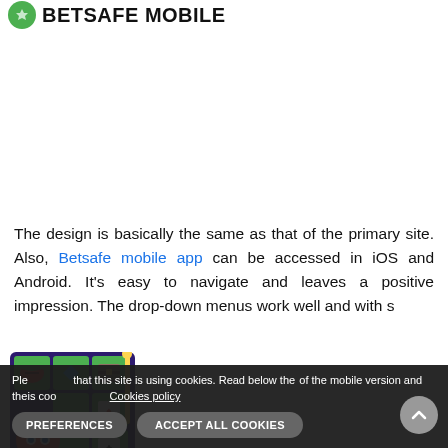BETSAFE MOBILE
The design is basically the same as that of the primary site. Also, Betsafe mobile app can be accessed in iOS and Android. It's easy to navigate and leaves a positive impression. The drop-down menus work well and with s...
[Figure (screenshot): Game screenshot showing a slot machine grid with fruit icons (watermelon, diamond, chest, card symbols) and a cartoon strawberry character]
Please note that this site is using cookies. Read below the rate of the mobile version and the is coo   Cookies policy